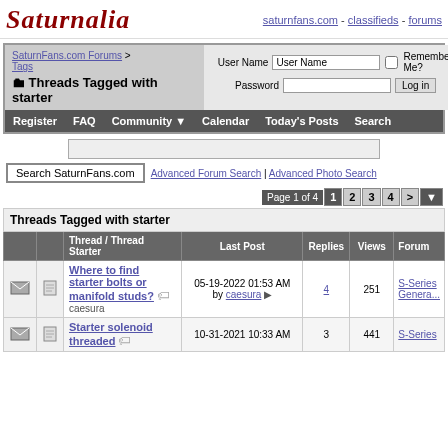Saturnalia — saturnfans.com - classifieds - forums
SaturnFans.com Forums > Tags — Threads Tagged with starter
User Name | Password | Remember Me? | Log in
Register | FAQ | Community | Calendar | Today's Posts | Search
Search SaturnFans.com | Advanced Forum Search | Advanced Photo Search
Page 1 of 4 — 1 2 3 4 > ▼
|  |  | Thread / Thread Starter | Last Post | Replies | Views | Forum |
| --- | --- | --- | --- | --- | --- | --- |
| Threads Tagged with starter |  |  |  |  |  |  |
| 🖂 | 📄 | Where to find starter bolts or manifold studs? caesura | 05-19-2022 01:53 AM by caesura ▶ | 4 | 251 | S-Series Genera... |
| 🖂 | 📄 | Starter solenoid threaded | 10-31-2021 10:33 AM | 3 | 441 | S-Series |